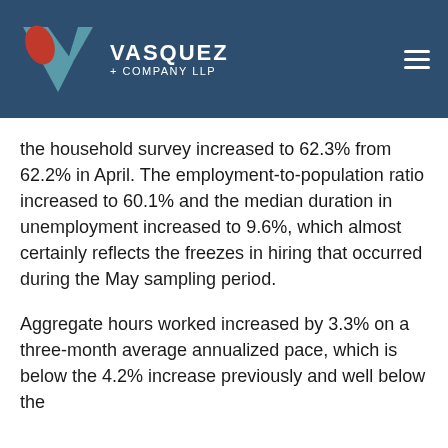VASQUEZ + COMPANY LLP
the household survey increased to 62.3% from 62.2% in April. The employment-to-population ratio increased to 60.1% and the median duration in unemployment increased to 9.6%, which almost certainly reflects the freezes in hiring that occurred during the May sampling period.
Aggregate hours worked increased by 3.3% on a three-month average annualized pace, which is below the 4.2% increase previously and well below the